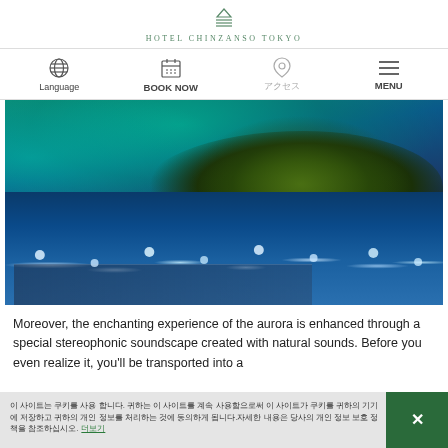HOTEL CHINZANSO TOKYO
[Figure (screenshot): Navigation bar with Language, BOOK NOW, location, and MENU icons]
[Figure (photo): Night aerial photo of Hotel Chinzanso Tokyo garden with aurora-like blue and teal lighting over trees and water, with decorative lights along the path]
Moreover, the enchanting experience of the aurora is enhanced through a special stereophonic soundscape created with natural sounds. Before you even realize it, you'll be transported into a
Cookie consent notice in Korean with a close button